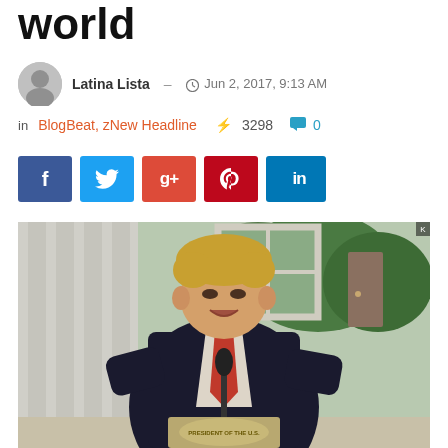world
Latina Lista  –  Jun 2, 2017, 9:13 AM
in BlogBeat, zNew Headline  ⚡ 3298  💬 0
[Figure (photo): A man in a dark suit with a red tie speaking at a podium outdoors, appearing to be at the White House Rose Garden. He has blonde/gray hair. There are white columns to the left, large windows in the background, and green trees to the right.]